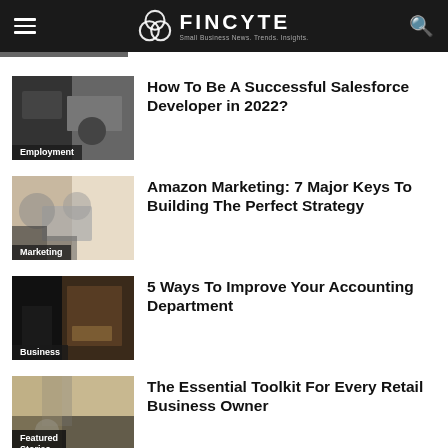FINCYTE — Small Business News. Trends. Insights.
How To Be A Successful Salesforce Developer in 2022?
Amazon Marketing: 7 Major Keys To Building The Perfect Strategy
5 Ways To Improve Your Accounting Department
The Essential Toolkit For Every Retail Business Owner